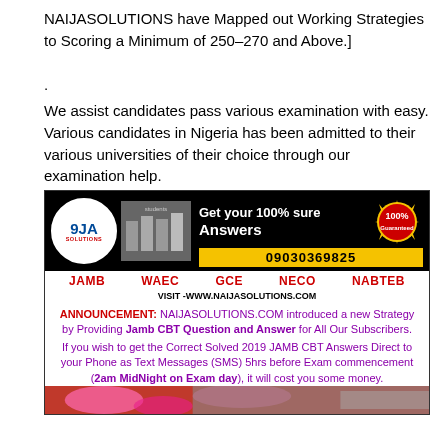NAIJASOLUTIONS have Mapped out Working Strategies to Scoring a Minimum of 250-270 and Above.]
.
We assist candidates pass various examination with easy. Various candidates in Nigeria has been admitted to their various universities of their choice through our examination help.
[Figure (infographic): 9JA Solutions advertisement banner showing logo, students at computers, '100% Guaranteed' badge, phone number 09030369825, exam names JAMB WAEC GCE NECO NABTEB, website VISIT-WWW.NAIJASOLUTIONS.COM, announcement about Jamb CBT Question and Answer service, and SMS info about 2019 JAMB CBT Answers.]